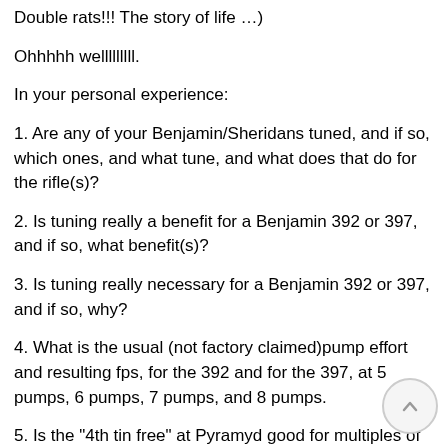Double rats!!! The story of life …)
Ohhhhh welllllllll.
In your personal experience:
1. Are any of your Benjamin/Sheridans tuned, and if so, which ones, and what tune, and what does that do for the rifle(s)?
2. Is tuning really a benefit for a Benjamin 392 or 397, and if so, what benefit(s)?
3. Is tuning really necessary for a Benjamin 392 or 397, and if so, why?
4. What is the usual (not factory claimed)pump effort and resulting fps, for the 392 and for the 397, at 5 pumps, 6 pumps, 7 pumps, and 8 pumps.
5. Is the "4th tin free" at Pyramyd good for multiples of 4 tins, or just the first 4 tins?